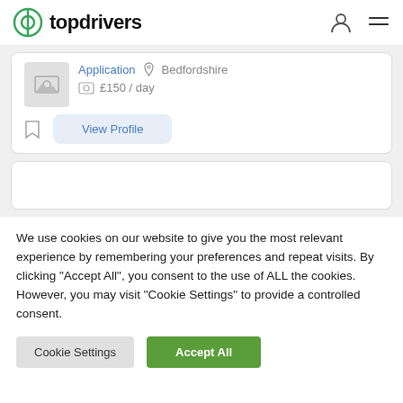topdrivers
Application  Bedfordshire  £150 / day
View Profile
We use cookies on our website to give you the most relevant experience by remembering your preferences and repeat visits. By clicking "Accept All", you consent to the use of ALL the cookies. However, you may visit "Cookie Settings" to provide a controlled consent.
Cookie Settings  Accept All